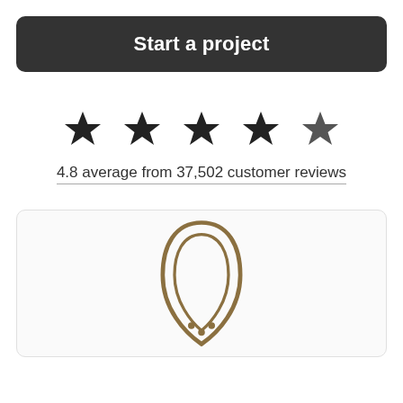Start a project
[Figure (infographic): Five black stars representing rating, 4.8 average from 37,502 customer reviews]
4.8 average from 37,502 customer reviews
[Figure (logo): Partial logo visible at bottom: an arch/shield shape in brown/gold outline with decorative elements inside, partially cropped]